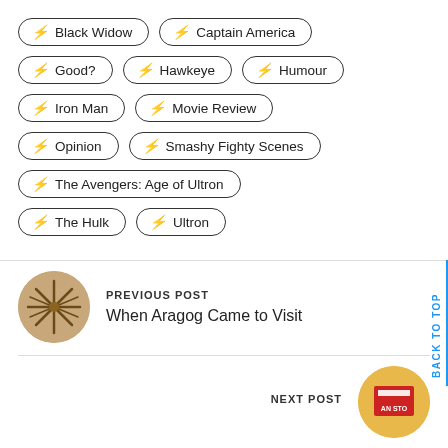⚡ Black Widow
⚡ Captain America
⚡ Good?
⚡ Hawkeye
⚡ Humour
⚡ Iron Man
⚡ Movie Review
⚡ Opinion
⚡ Smashy Fighty Scenes
⚡ The Avengers: Age of Ultron
⚡ The Hulk
⚡ Ultron
PREVIOUS POST
When Aragog Came to Visit
NEXT POST